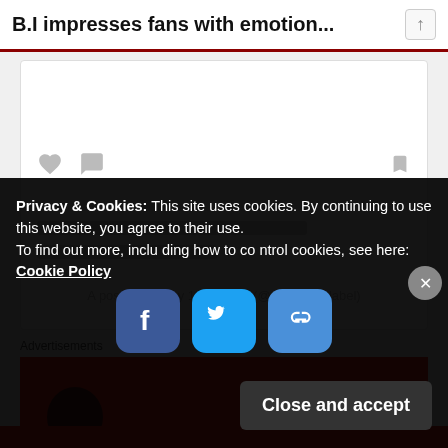B.I impresses fans with emotion...
[Figure (screenshot): Instagram embedded post card (loading state) with heart, comment, and bookmark icons and skeleton loading lines]
A post shared by 131LABEL (@official131label)
Advertisements
[Figure (illustration): Red advertisement banner with 'An app by' text in white bold letters]
Privacy & Cookies: This site uses cookies. By continuing to use this website, you agree to their use.
To find out more, including how to control cookies, see here: Cookie Policy
[Figure (screenshot): Social share buttons: Facebook, Twitter, and copy link icons]
Close and accept